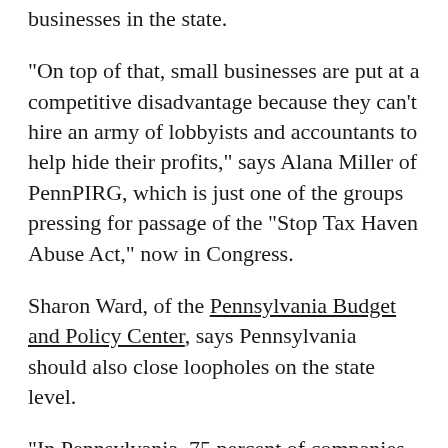businesses in the state.
"On top of that, small businesses are put at a competitive disadvantage because they can't hire an army of lobbyists and accountants to help hide their profits," says Alana Miller of PennPIRG, which is just one of the groups pressing for passage of the "Stop Tax Haven Abuse Act," now in Congress.
Sharon Ward, of the Pennsylvania Budget and Policy Center, says Pennsylvania should also close loopholes on the state level.
"In Pennsylvania, 75 percent of companies have no tax liability whatsoever," she says.  "It's like having a sign over the turnpike saying, 'Come to Pennsylvania. Pick our pockets.' "